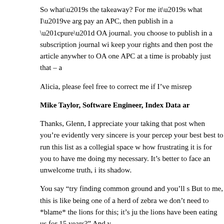So what’s the takeaway? For me it’s what I’ve arg pay an APC, then publish in a “pure” OA journal. you choose to publish in a subscription journal wi keep your rights and then post the article anywher to OA one APC at a time is probably just that – a
Alicia, please feel free to correct me if I’ve misrep
Mike Taylor, Software Engineer, Index Data ar
Thanks, Glenn, I appreciate your taking that post when you’re evidently very sincere is your percep your best best to run this list as a collegial space w how frustrating it is for you to have me doing my necessary. It’s better to face an unwelcome truth, i its shadow.
You say “try finding common ground and you’ll s But to me, this is like being one of a herd of zebra we don’t need to *blame* the lions for this; it’s ju the lions have been eating us for 15 years?” And y